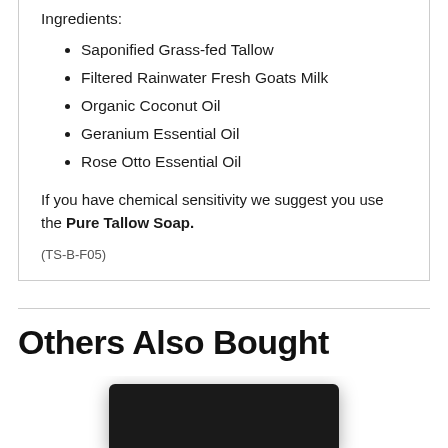Ingredients:
Saponified Grass-fed Tallow
Filtered Rainwater Fresh Goats Milk
Organic Coconut Oil
Geranium Essential Oil
Rose Otto Essential Oil
If you have chemical sensitivity we suggest you use the Pure Tallow Soap.
(TS-B-F05)
Others Also Bought
[Figure (photo): Dark rectangular soap bar product photo]